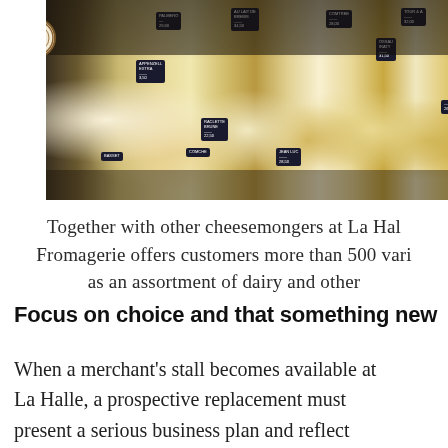[Figure (photo): A cheese shop display counter showing many varieties of cheese arranged with small black price/label tags. A circular logo/seal is visible in the upper-left of the photo.]
Together with other cheesemongers at La Hal... Fromagerie offers customers more than 500 vari... as an assortment of dairy and other...
Focus on choice and that something new
When a merchant's stall becomes available at La Halle, a prospective replacement must present a serious business plan and reflect the collective vision to offer depth and...